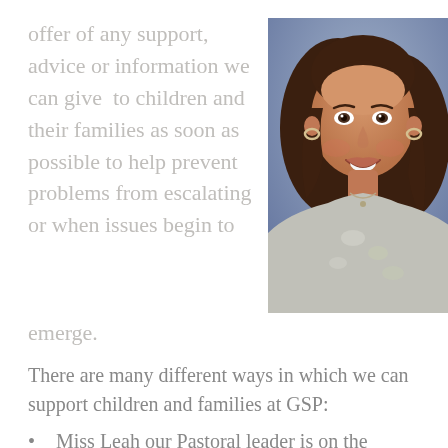offer of any support, advice or information we can give  to children and their families as soon as possible to help prevent problems from escalating or when issues begin to emerge.
[Figure (photo): Portrait photo of a smiling woman with brown hair, wearing a light grey floral top, against a blue/grey background.]
There are many different ways in which we can support children and families at GSP:
Miss Leah our Pastoral leader is on the playground every morning and is available to talk to parents/carers when